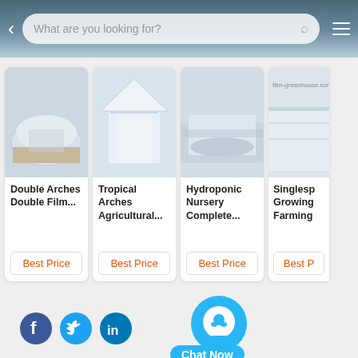[Figure (screenshot): Mobile website header with search bar, back arrow, search icon, and hamburger menu]
[Figure (photo): Double Arches Double Film greenhouse product card]
[Figure (photo): Tropical Arches Agricultural greenhouse product card]
[Figure (photo): Hydroponic Nursery Complete greenhouse product card]
[Figure (photo): Singlespan Growing Farming greenhouse product card (partial)]
Double Arches Double Film...
Tropical Arches Agricultural...
Hydroponic Nursery Complete...
Singlesp Growing Farming
Home | About Us | Contact Us | Desktop
Quality Polyethylene Film Greenhouse China Factory.Copyright © 2022 film-greenhouse.com. All Rights Reserved.